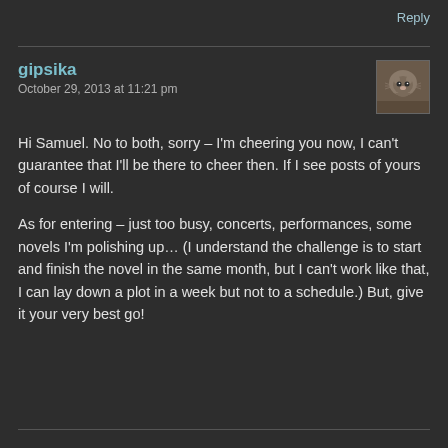Reply
gipsika
October 29, 2013 at 11:21 pm
Hi Samuel. No to both, sorry – I'm cheering you now, I can't guarantee that I'll be there to cheer then. If I see posts of yours of course I will.
As for entering – just too busy, concerts, performances, some novels I'm polishing up… (I understand the challenge is to start and finish the novel in the same month, but I can't work like that, I can lay down a plot in a week but not to a schedule.) But, give it your very best go!